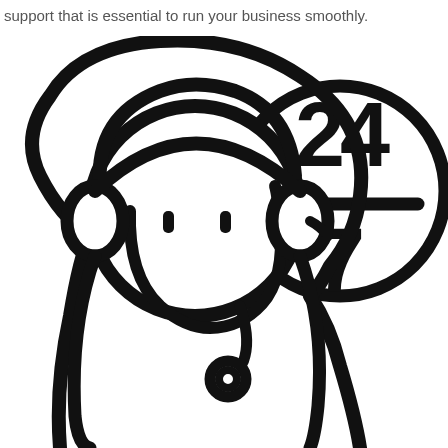support that is essential to run your business smoothly.
[Figure (illustration): Black and white line art illustration of a female customer support agent wearing a headset with a microphone, shown from the shoulders up with long hair. To the upper right is a speech bubble circle containing '24/7' in large bold text separated by a horizontal line.]